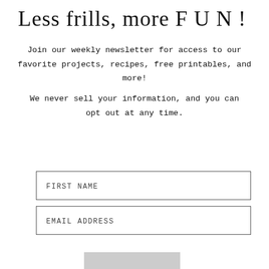Less frills, more F U N !
Join our weekly newsletter for access to our favorite projects, recipes, free printables, and more!
We never sell your information, and you can opt out at any time.
FIRST NAME
EMAIL ADDRESS